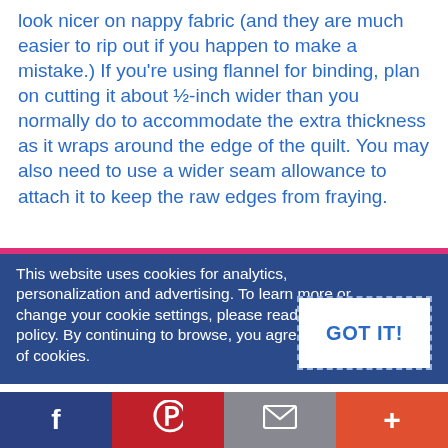look nicer on nappy fabric (and they are much easier to rip out if you happen to make a mistake.) If you’re using flannel for binding, plan on cutting it about ½-inch wider than you normally do to accommodate the extra thickness as it wraps around the edge of the quilt. You may also need to use a wider seam allowance to attach it to keep the raw edges from fraying.
This website uses cookies for analytics, personalization and advertising. To learn more or change your cookie settings, please read our cookie policy. By continuing to browse, you agree to our use of cookies.
[Figure (other): GOT IT! button with dashed border on dark blue cookie consent banner]
[Figure (infographic): Social sharing bar at bottom with Facebook (blue), Pinterest (red), Email (gray), and Plus/More (orange-red) buttons]